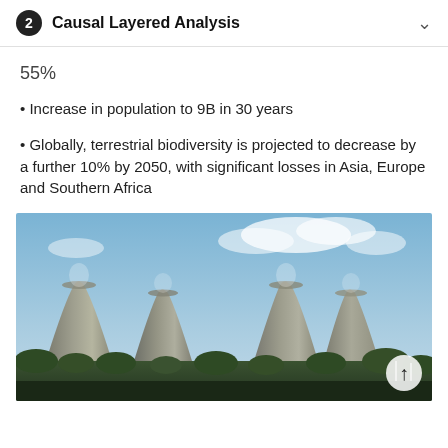2 Causal Layered Analysis
55%
Increase in population to 9B in 30 years
Globally, terrestrial biodiversity is projected to decrease by a further 10% by 2050, with significant losses in Asia, Europe and Southern Africa
[Figure (photo): Four large industrial cooling towers (hyperboloid shape) photographed from ground level against a partly cloudy blue sky, with trees and structures visible at the base.]